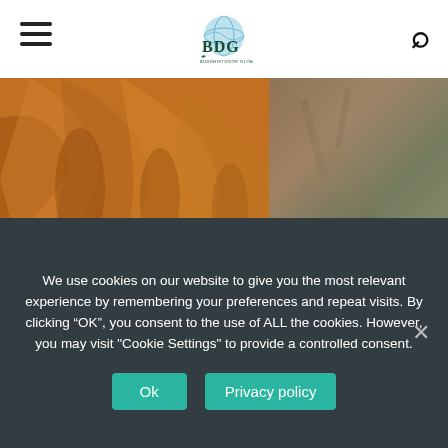BDG - Buddhistdoor Global
[Figure (photo): Close-up photograph of orange-robed Buddhist statue or sculpture at an archaeological site, with sandy excavation ground visible in the background]
UPDATE: A Glimmer of Hope for Afghanistan's 5,000-year-old Mes Aynak Archaeological Site?
[Figure (photo): Two side-by-side photos: left shows Tibetan flag in blue, red and yellow colors; right shows a dark-colored animal or structure]
We use cookies on our website to give you the most relevant experience by remembering your preferences and repeat visits. By clicking “OK”, you consent to the use of ALL the cookies. However, you may visit "Cookie Settings" to provide a controlled consent.